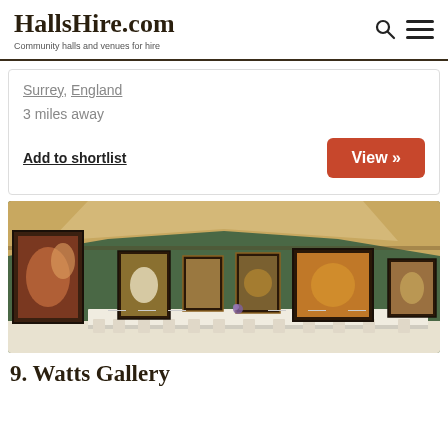HallsHire.com — Community halls and venues for hire
Surrey, England
3 miles away
Add to shortlist
View »
[Figure (photo): Interior of an art gallery set up for a formal dinner event, with green walls displaying numerous framed oil paintings, a long white-cloth table with place settings, and a vaulted wooden ceiling.]
9. Watts Gallery